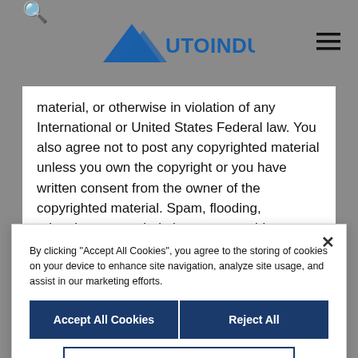[Figure (logo): AutoIndustriya.com logo with blue triangle/arrow and text]
material, or otherwise in violation of any International or United States Federal law. You also agree not to post any copyrighted material unless you own the copyright or you have written consent from the owner of the copyrighted material. Spam, flooding, advertisements, chain letters, pyramid schemes, and solicitations are also forbidden on this forum.
Note that it is impossible for the staff or the owners of this forum to confirm the validity of posts. Please remember that we do not actively monitor the posted messages, and as such, are not responsible for the content contained within. We do not warrant the accuracy, completeness, or usefulness of any information presented. The posted messages express the views of the author, and not necessarily the views of this forum, its staff, its subsidiaries, or this forum's owner. Anyone who feels that a posted message is objectionable is encouraged to notify an administrator or moderator of this forum immediately. The staff and the owner of this forum
By clicking "Accept All Cookies", you agree to the storing of cookies on your device to enhance site navigation, analyze site usage, and assist in our marketing efforts.